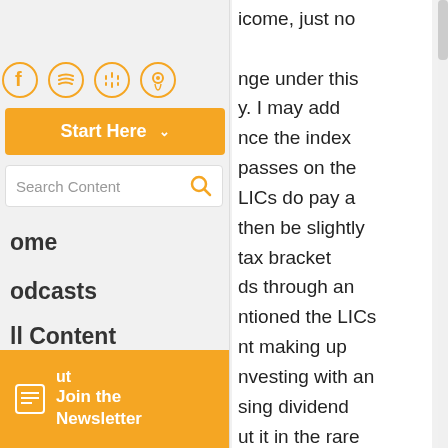[Figure (screenshot): Social media / podcast icons row: Facebook, Spotify, Google Podcasts, Apple Podcasts]
[Figure (screenshot): Orange 'Start Here' dropdown navigation button]
[Figure (screenshot): Search Content input box with orange magnifying glass icon]
ome
odcasts
ll Content
[Figure (screenshot): Orange newsletter signup box with document icon, text 'ut Join the Newsletter']
icome, just no
nge under this y. I may add nce the index passes on the LICs do pay a then be slightly tax bracket ds through an ntioned the LICs nt making up nvesting with an sing dividend ut it in the rare can agree on ally gets